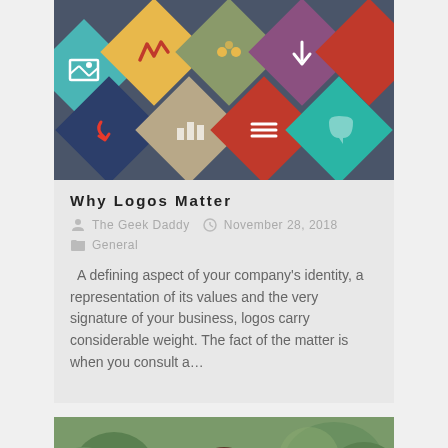[Figure (illustration): Colorful diamond/tile icon grid on dark blue-grey background showing various icons including arrows, graph, and other symbols in yellow, teal, mauve, red, and other colors.]
Why Logos Matter
The Geek Daddy  November 28, 2018  General
A defining aspect of your company's identity, a representation of its values and the very signature of your business, logos carry considerable weight. The fact of the matter is when you consult a…
[Figure (photo): Photo of a man with dark hair in a suit, arms raised, outdoors with green trees in background.]